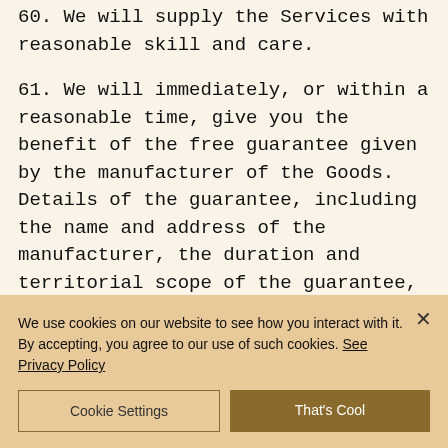60. We will supply the Services with reasonable skill and care.
61. We will immediately, or within a reasonable time, give you the benefit of the free guarantee given by the manufacturer of the Goods. Details of the guarantee, including the name and address of the manufacturer, the duration and territorial scope of the guarantee, are set out in the manufacturer's guarantee...
We use cookies on our website to see how you interact with it. By accepting, you agree to our use of such cookies. See Privacy Policy